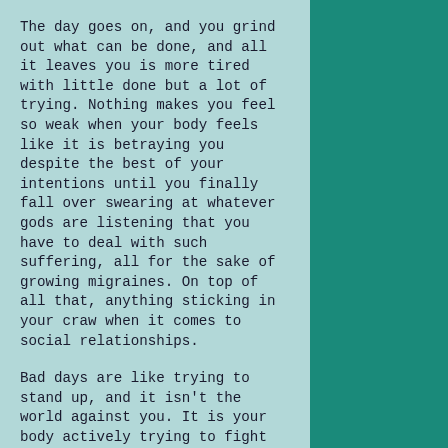The day goes on, and you grind out what can be done, and all it leaves you is more tired with little done but a lot of trying. Nothing makes you feel so weak when your body feels like it is betraying you despite the best of your intentions until you finally fall over swearing at whatever gods are listening that you have to deal with such suffering, all for the sake of growing migraines. On top of all that, anything sticking in your craw when it comes to social relationships.
Bad days are like trying to stand up, and it isn't the world against you. It is your body actively trying to fight your efforts, and it feels like gears grinding against gears. There is no workflow. There is no energy, and everything you try to push up only gets you to from waking up to going back to sleep without enough to make you